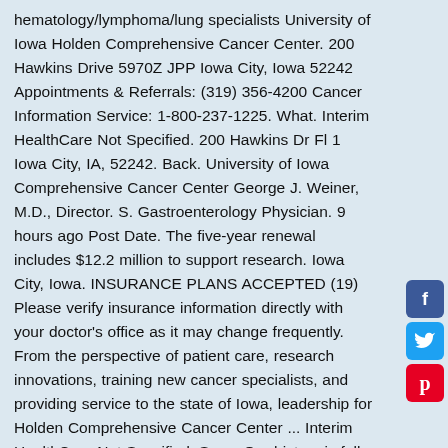hematology/lymphoma/lung specialists University of Iowa Holden Comprehensive Cancer Center. 200 Hawkins Drive 5970Z JPP Iowa City, Iowa 52242 Appointments & Referrals: (319) 356-4200 Cancer Information Service: 1-800-237-1225. What. Interim HealthCare Not Specified. 200 Hawkins Dr Fl 1 Iowa City, IA, 52242. Back. University of Iowa Comprehensive Cancer Center George J. Weiner, M.D., Director. S. Gastroenterology Physician. 9 hours ago Post Date. The five-year renewal includes $12.2 million to support research. Iowa City, Iowa. INSURANCE PLANS ACCEPTED (19) Please verify insurance information directly with your doctor's office as it may change frequently. From the perspective of patient care, research innovations, training new cancer specialists, and providing service to the state of Iowa, leadership for Holden Comprehensive Cancer Center ... Interim HealthCare Not Specified. Save. Our history is full of firsts for Iowa and the nation. Our NCI endorsement ranks us among the nation's elite. As part of a
[Figure (other): Facebook social share button (blue square with white 'f' icon)]
[Figure (other): Twitter social share button (blue square with white bird/Twitter icon)]
[Figure (other): Pinterest social share button (red square with white 'p' icon)]